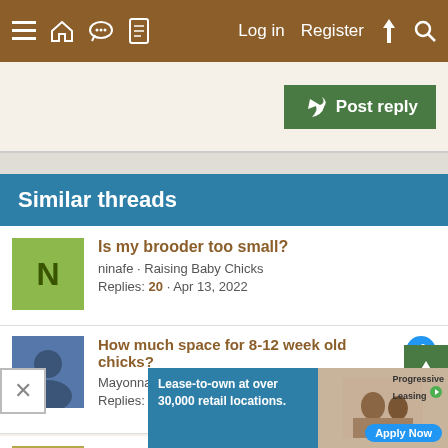≡ 🏠 💬 📄   Log in   Register   ⚡ 🔍
Post reply
Similar threads
Is my brooder too small?
ninafe · Raising Baby Chicks
Replies: 20 · Apr 13, 2022
How much space for 8-12 week old chicks?
Mayonnaise83 · Raising Baby Chicks
Replies: 2 · Apr 25, 2022
Moving Chicks to the Coop
Ejmaggz · Raising Baby Chicks
Replies: 4 · Jun 27, 2022
[Figure (screenshot): Progressive Leasing advertisement: Lease-to-own at over 30,000 retail locations. Apply Now button.]